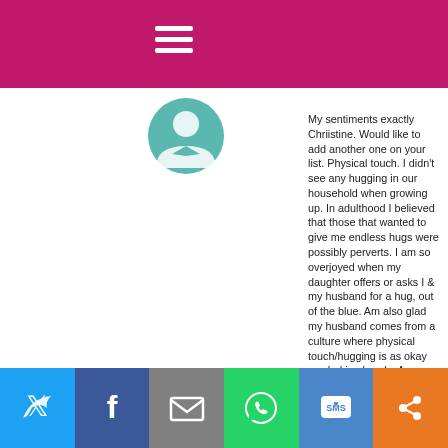My sentiments exactly Chriistine. Would like to add another one on your list. Physical touch. I didn't see any hugging in our household when growing up. In adulthood I believed that those that wanted to give me endless hugs were possibly perverts. I am so overjoyed when my daughter offers or asks I & my husband for a hug, out of the blue. Am also glad my husband comes from a culture where physical touch/hugging is as okay as shaking hands. As a matter of fact when you just extend your hand in greeting, it is ignored and you are given a hug(& a kiss 2 times on each cheek) instead. I am still a,'work-in-process', and blessed to have my daughter & husband
Twitter | Facebook | Email | WhatsApp | SMS | More